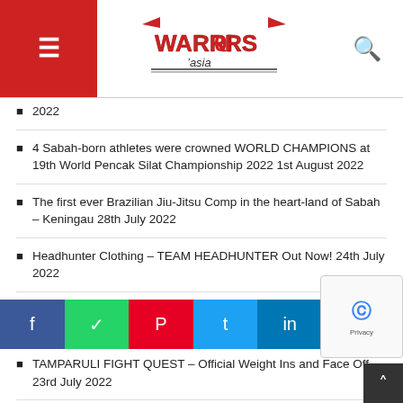Warriors Asia - navigation header with logo
2022
4 Sabah-born athletes were crowned WORLD CHAMPIONS at 19th World Pencak Silat Championship 2022 1st August 2022
The first ever Brazilian Jiu-Jitsu Comp in the heart-land of Sabah – Keningau 28th July 2022
Headhunter Clothing – TEAM HEADHUNTER Out Now! 24th July 2022
Video editing of TFQ weigh-in done by Dean Hamsah 23rd July 2022
TAMPARULI FIGHT QUEST – Official Weight Ins and Face Off 23rd July 2022
Reinier De Ridder and Vitaly Bigdash's ONE Middleweight World Title showdown ended with a SLICK submission! 23rd July 2022
TFQ feature cage boxing – EDMUND vs ATEW 29th July
TFQ: Featur... 2022